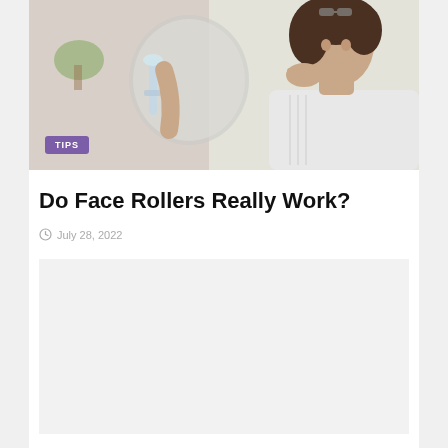[Figure (photo): Woman applying skincare product to her face while looking in a mirror, with curly hair and glasses on her head, wearing a white top]
Do Face Rollers Really Work?
July 28, 2022
[Figure (photo): Secondary image placeholder area, light gray rectangle]